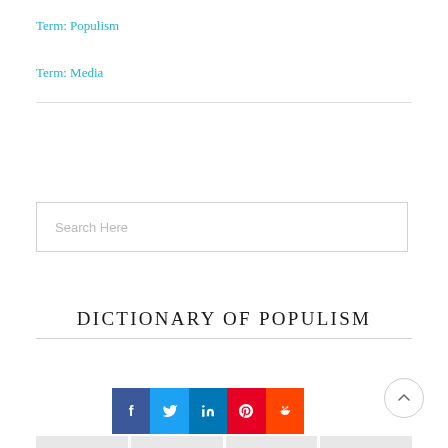Term: Populism
Term: Media
[Figure (other): Search input box with placeholder text 'Search Here']
DICTIONARY OF POPULISM
[Figure (infographic): Social sharing buttons: Facebook (blue), Twitter (light blue), LinkedIn (dark blue), Pinterest (red), Reddit (orange-red)]
[Figure (other): Scroll-to-top circular button with upward arrow]